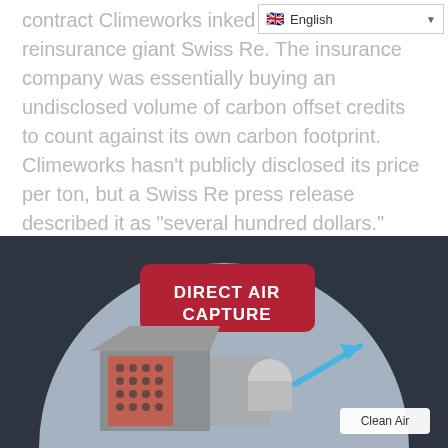English (dropdown)
contract Climeworks inked la… reinsurance giant Swiss Re. The insurance company was essentially buying an undisclosed volume of carbon offset credits to count against its own carbon footprint. Climeworks hasn't publicly disclosed its price per ton, but a Swiss Re press release described it as “several hundred dollars.”
[Figure (infographic): Direct Air Capture infographic showing a machine capturing CO2 from air with labeled 'Clean Air' output arrow, set inside a dark background with a circular light-blue diagram area.]